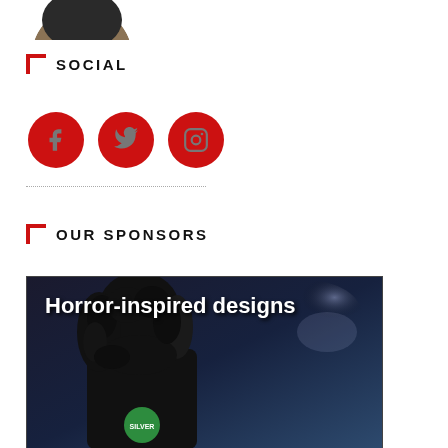[Figure (photo): Circular profile photo of a person at the top of the page]
SOCIAL
[Figure (infographic): Three red circular social media icon buttons: Facebook, Twitter, Instagram]
OUR SPONSORS
[Figure (photo): Advertisement image showing a woman with curly hair wearing a black shirt with a green Silver Shamrock logo, text reads 'Horror-inspired designs']